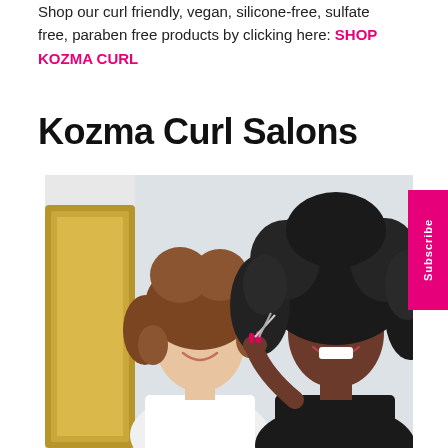Shop our curl friendly, vegan, silicone-free, sulfate free, paraben free products by clicking here: SHOP KOZMA CURL
Kozma Curl Salons
[Figure (photo): A hairstylist with voluminous curly black hair smiling and styling the curly brown hair of a young woman in front of a gold-framed mirror. Both are smiling.]
Subscribe